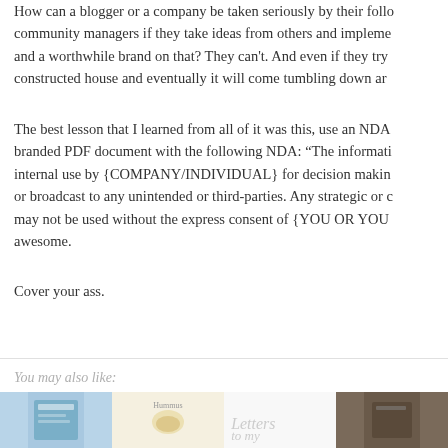How can a blogger or a company be taken seriously by their followers, community managers if they take ideas from others and implement and a worthwhile brand on that? They can't. And even if they try constructed house and eventually it will come tumbling down ar
The best lesson that I learned from all of it was this, use an NDA branded PDF document with the following NDA: “The informati internal use by {COMPANY/INDIVIDUAL} for decision makin or broadcast to any unintended or third-parties. Any strategic or c may not be used without the express consent of {YOU OR YOU awesome.
Cover your ass.
You may also like:
[Figure (photo): Four book/product thumbnail images in a horizontal row at the bottom of the page]